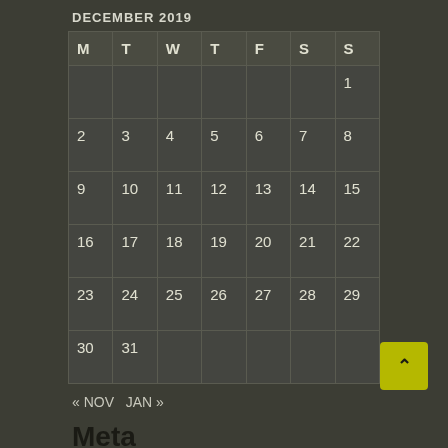DECEMBER 2019
| M | T | W | T | F | S | S |
| --- | --- | --- | --- | --- | --- | --- |
|  |  |  |  |  |  | 1 |
| 2 | 3 | 4 | 5 | 6 | 7 | 8 |
| 9 | 10 | 11 | 12 | 13 | 14 | 15 |
| 16 | 17 | 18 | 19 | 20 | 21 | 22 |
| 23 | 24 | 25 | 26 | 27 | 28 | 29 |
| 30 | 31 |  |  |  |  |  |
« NOV  JAN »
Meta
LOG IN